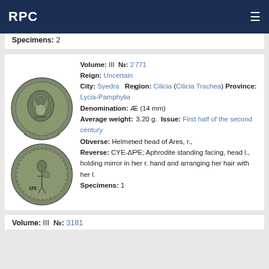RPC
Specimens: 2
Volume: III №: 2771 Reign: Uncertain City: Syedra  Region: Cilicia (Cilicia Trachea)  Province: Lycia-Pamphylia Denomination: Æ (14 mm) Average weight: 3.20 g.  Issue: First half of the second century Obverse: Helmeted head of Ares, r., Reverse: CYE-ΔPE; Aphrodite standing facing, head l., holding mirror in her r. hand and arranging her hair with her l. Specimens: 1
[Figure (photo): Two ancient bronze coins from Syedra, Cilicia. Top coin shows helmeted head of Ares in profile. Bottom coin shows Aphrodite standing facing with inscription CYE-ΔPE.]
Volume: III №: 3181